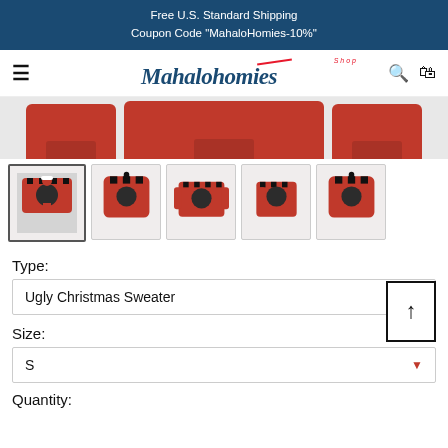Free U.S. Standard Shipping
Coupon Code "MahaloHomies-10%"
[Figure (logo): Shop Mahalohomies logo with hamburger menu, search icon, and cart icon in navigation bar]
[Figure (photo): Hero product image showing red ugly Christmas sweater with pocket, cropped at top]
[Figure (photo): Thumbnail gallery showing 5 product variants: ugly Christmas sweater with Obama face in Santa hat, red hoodie, full sweater, short sleeve shirt, and another hoodie]
Type:
Ugly Christmas Sweater
Size:
S
Quantity: